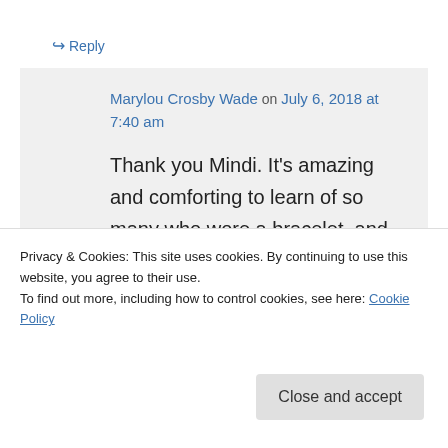↳ Reply
Marylou Crosby Wade on July 6, 2018 at 7:40 am
Thank you Mindi. It's amazing and comforting to learn of so many who wore a bracelet, and cared so long ago, and still care today. Our family was one of the lucky ones. We are forever thankful to you, and
Privacy & Cookies: This site uses cookies. By continuing to use this website, you agree to their use.
To find out more, including how to control cookies, see here: Cookie Policy
Close and accept
goals via his scholarship fund. He'd be